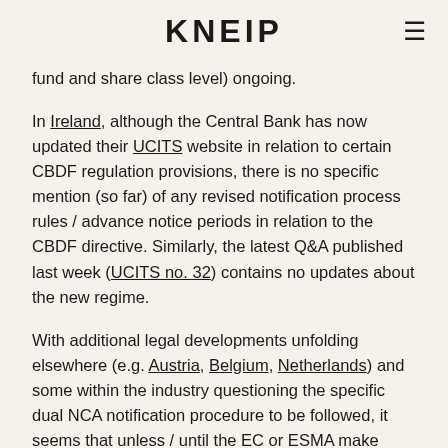KNEIP
fund and share class level) ongoing.
In Ireland, although the Central Bank has now updated their UCITS website in relation to certain CBDF regulation provisions, there is no specific mention (so far) of any revised notification process rules / advance notice periods in relation to the CBDF directive. Similarly, the latest Q&A published last week (UCITS no. 32) contains no updates about the new regime.
With additional legal developments unfolding elsewhere (e.g. Austria, Belgium, Netherlands) and some within the industry questioning the specific dual NCA notification procedure to be followed, it seems that unless / until the EC or ESMA make available interim supporting guidance, UCITS firms marketing throughout the EEA will remain facing significant complications arising from this (apparently small)